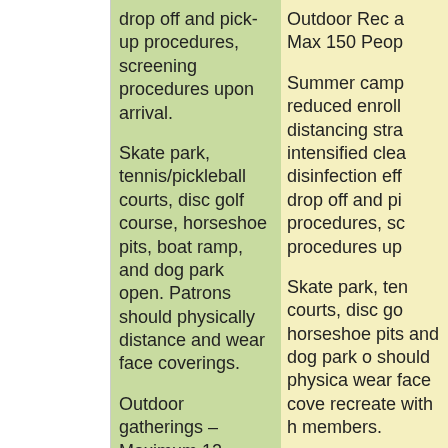drop off and pick-up procedures, screening procedures upon arrival.
Skate park, tennis/pickleball courts, disc golf course, horseshoe pits, boat ramp, and dog park open. Patrons should physically distance and wear face coverings.
Outdoor gatherings – Maximum 12 people (pavilion rental?)
Senior Centers are not allowed to
Outdoor Rec a Max 150 Peop
Summer camp reduced enroll distancing stra intensified clea disinfection eff drop off and pi procedures, sc procedures up
Skate park, ten courts, disc go horseshoe pits and dog park o should physica wear face cove recreate with h members.
Back to Top
Outdoor gathe Maximum 10 p